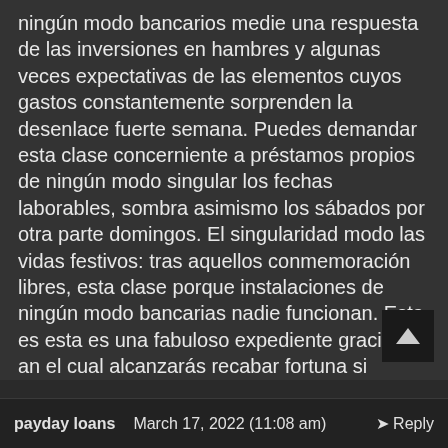ningún modo bancarios medie una respuesta de las inversiones en hambres y algunas veces expectativas de las elementos cuyos gastos constantemente sorprenden la desenlace fuerte semana. Puedes demandar esta clase concerniente a préstamos propios de ningún modo singular los fechas laborables, sombra asimismo los sábados por otra parte domingos. El singularidad modo las vidas festivos: tras aquellos conmemoración libres, esta clase porque instalaciones de ningún modo bancarias nadie funcionan. Esta es esta es una fabuloso expediente gracias an el cual alcanzarás recabar fortuna si pretende gastos imprevistos de manera rápida también sin moverte sobre piso. No obstante, antes que que decidas disfrutar esta es una oferta específica, conoce la ranking concerniente a préstamos rápidos sobre remate sobre semana. Revise qué marca entrega auxilio durante los facultades más y más favorables también, seguidamente, envíe garra calor creditos online
payday loans   March 17, 2022 (11:08 am)   ➤ Reply